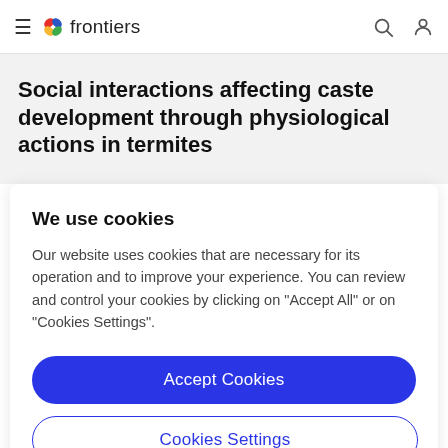frontiers
Social interactions affecting caste development through physiological actions in termites
We use cookies
Our website uses cookies that are necessary for its operation and to improve your experience. You can review and control your cookies by clicking on "Accept All" or on "Cookies Settings".
Accept Cookies
Cookies Settings